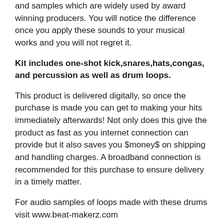and samples which are widely used by award winning producers. You will notice the difference once you apply these sounds to your musical works and you will not regret it.
Kit includes one-shot kick,snares,hats,congas, and percussion as well as drum loops.
This product is delivered digitally, so once the purchase is made you can get to making your hits immediately afterwards! Not only does this give the product as fast as you internet connection can provide but it also saves you $money$ on shipping and handling charges. A broadband connection is recommended for this purchase to ensure delivery in a timely matter.
For audio samples of loops made with these drums visit www.beat-makerz.com
HARDWARE & SOFTWARE COMPATABLITY
PRO TOOLS, CUBASE, CAKEWALK, ADOBE AUDITION, RECYCLE, SONAR, REASON, ACID,